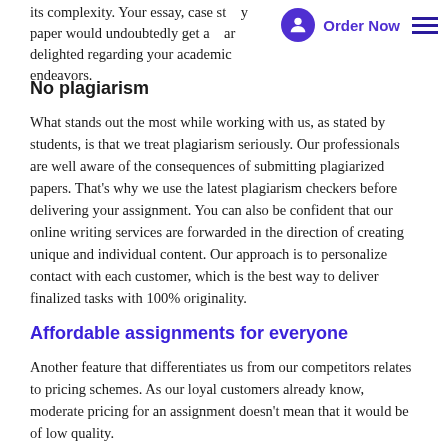its complexity. Your essay, case study paper would undoubtedly get a great grade, and your professor would be delighted regarding your academic endeavors.
No plagiarism
What stands out the most while working with us, as stated by students, is that we treat plagiarism seriously. Our professionals are well aware of the consequences of submitting plagiarized papers. That's why we use the latest plagiarism checkers before delivering your assignment. You can also be confident that our online writing services are forwarded in the direction of creating unique and individual content. Our approach is to personalize contact with each customer, which is the best way to deliver finalized tasks with 100% originality.
Affordable assignments for everyone
Another feature that differentiates us from our competitors relates to pricing schemes. As our loyal customers already know, moderate pricing for an assignment doesn't mean that it would be of low quality.